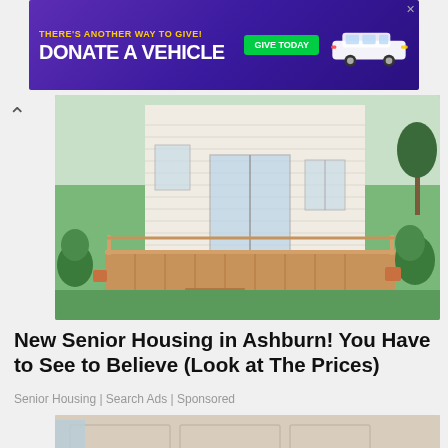[Figure (screenshot): Purple advertisement banner: 'THERE'S ANOTHER WAY TO GIVE! DONATE A VEHICLE' with green GIVE TODAY button and white car image]
[Figure (photo): Photo of a suburban house exterior with a wooden deck, steps, and lush garden plants]
New Senior Housing in Ashburn! You Have to See to Believe (Look at The Prices)
Senior Housing | Search Ads | Sponsored
[Figure (photo): Photo of a luxury modular sofa/bed set in teal/dark blue upholstery with built-in storage shelving and side tables]